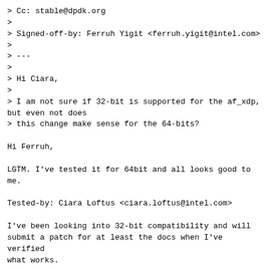> Cc: stable@dpdk.org
>
> Signed-off-by: Ferruh Yigit <ferruh.yigit@intel.com>
>
> ---
>
> Hi Ciara,
>
> I am not sure if 32-bit is supported for the af_xdp, but even not does
> this change make sense for the 64-bits?
Hi Ferruh,
LGTM. I've tested it for 64bit and all looks good to me.
Tested-by: Ciara Loftus <ciara.loftus@intel.com>
I've been looking into 32-bit compatibility and will submit a patch for at least the docs when I've verified what works.
Thanks,
Ciara
> ---
>  drivers/net/af_xdp/rte_eth_af_xdp.c | 6 +++---
>  1 file changed, 3 insertions(+), 3 deletions(-)
>